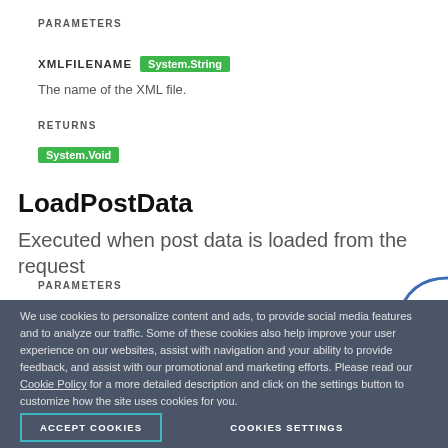PARAMETERS
XMLFILENAME  System.String
The name of the XML file.
RETURNS
System.Void
LoadPostData
Executed when post data is loaded from the request
PARAMETERS
We use cookies to personalize content and ads, to provide social media features and to analyze our traffic. Some of these cookies also help improve your user experience on our websites, assist with navigation and your ability to provide feedback, and assist with our promotional and marketing efforts. Please read our Cookie Policy for a more detailed description and click on the settings button to customize how the site uses cookies for you.
ACCEPT COOKIES
COOKIES SETTINGS